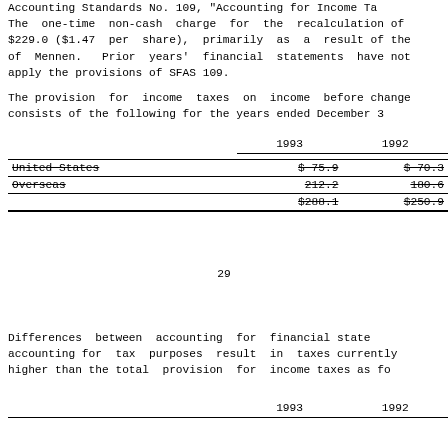Accounting Standards No. 109, "Accounting for Income Ta... The one-time non-cash charge for the recalculation of $229.0 ($1.47 per share), primarily as a result of the of Mennen. Prior years' financial statements have not apply the provisions of SFAS 109.
The provision for income taxes on income before change consists of the following for the years ended December 3...
|  | 1993 | 1992 |
| --- | --- | --- |
| United States | $ 75.9 | $ 70.3 |
| Overseas | 212.2 | 180.6 |
|  | $288.1 | $250.9 |
29
Differences between accounting for financial state accounting for tax purposes result in taxes currently higher than the total provision for income taxes as fo...
|  | 1993 | 1992 |
| --- | --- | --- |